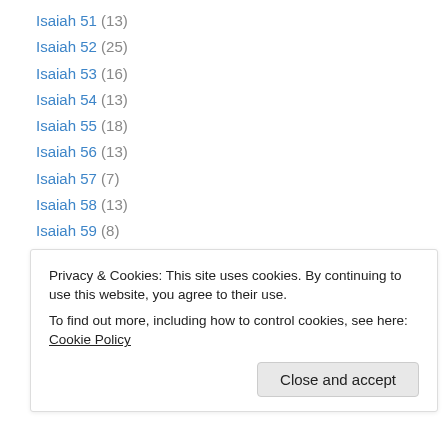Isaiah 51 (13)
Isaiah 52 (25)
Isaiah 53 (16)
Isaiah 54 (13)
Isaiah 55 (18)
Isaiah 56 (13)
Isaiah 57 (7)
Isaiah 58 (13)
Isaiah 59 (8)
Isaiah 6 (21)
Isaiah 60 (17)
Isaiah 61 (17)
Isaiah 62 (20)
Privacy & Cookies: This site uses cookies. By continuing to use this website, you agree to their use. To find out more, including how to control cookies, see here: Cookie Policy